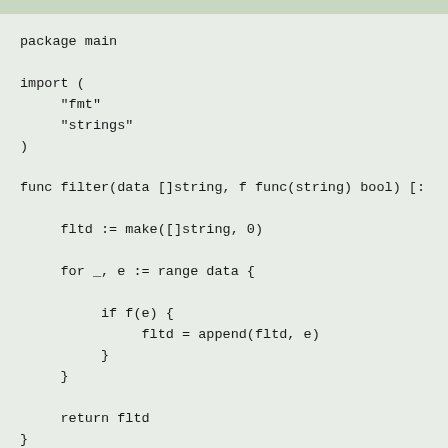[Figure (other): Green header bar at top of code block]
package main

import (
    "fmt"
    "strings"
)

func filter(data []string, f func(string) bool) [:

    fltd := make([]string, 0)

    for _, e := range data {

        if f(e) {
            fltd = append(fltd, e)
        }
    }

    return fltd
}

func main() {